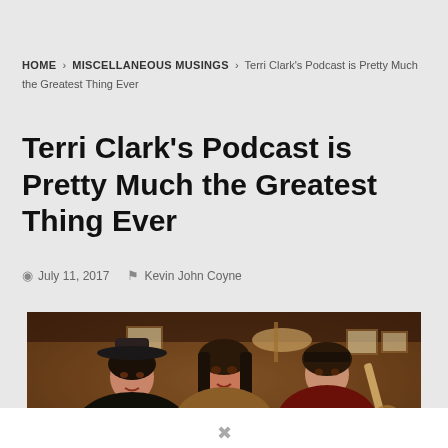HOME > MISCELLANEOUS MUSINGS > Terri Clark's Podcast is Pretty Much the Greatest Thing Ever
Terri Clark's Podcast is Pretty Much the Greatest Thing Ever
July 11, 2017  Kevin John Coyne
[Figure (photo): Three women posed together in what appears to be a bar or music venue, with a guitar visible in the background. The woman on the left wears a black cowboy hat, the woman in the center has dark hair and a leopard print top, and the woman on the right holds a guitar.]